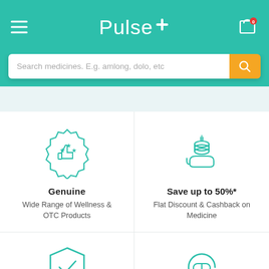[Figure (screenshot): Pulse pharmacy app header with hamburger menu, Pulse+ logo, and cart icon with 0 badge]
[Figure (screenshot): Search bar with placeholder text 'Search medicines. E.g. amlong, dolo, etc' and orange search button]
[Figure (illustration): Teal badge icon with stars and thumbs up representing Genuine products]
Genuine
Wide Range of Wellness & OTC Products
[Figure (illustration): Teal hand holding coins icon representing savings]
Save up to 50%*
Flat Discount & Cashback on Medicine
[Figure (illustration): Teal shield with checkmark icon]
[Figure (illustration): Teal circle with pill/capsule and arrow icon]